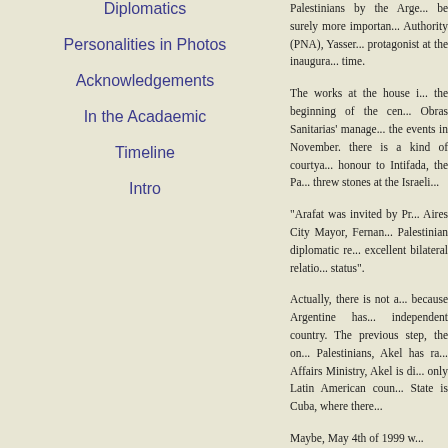Diplomatics
Personalities in Photos
Acknowledgements
In the Acadaemic
Timeline
Intro
Palestinians by the Arge... be surely more importan... Authority (PNA), Yasser... protagonist at the inaugura... time.
The works at the house i... the beginning of the cen... Obras Sanitarias' manage... the events in November.... there is a kind of courtya... honour to Intifada, the Pa... threw stones at the Israeli...
“Arafat was invited by Pr... Aires City Mayor, Fernan... Palestinian diplomatic re... excellent bilateral relatio... status”.
Actually, there is not a... because Argentine has... independent country. The... previous step, the on... Palestinians, Akel has ra... Affairs Ministry, Akel is di... only Latin American coun... State is Cuba, where ther...
Maybe, May 4th of 1999 w...